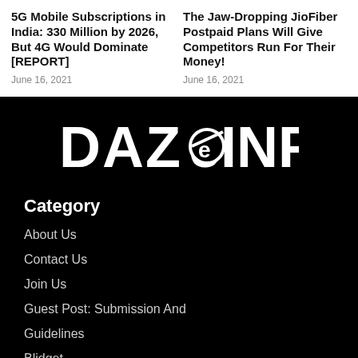5G Mobile Subscriptions in India: 330 Million by 2026, But 4G Would Dominate [REPORT]
June 16, 2021
The Jaw-Dropping JioFiber Postpaid Plans Will Give Competitors Run For Their Money!
June 16, 2021
[Figure (logo): Dazeinfo logo in white on black background]
Category
About Us
Contact Us
Join Us
Guest Post: Submission And Guidelines
Blidget
Sitemap
Logo